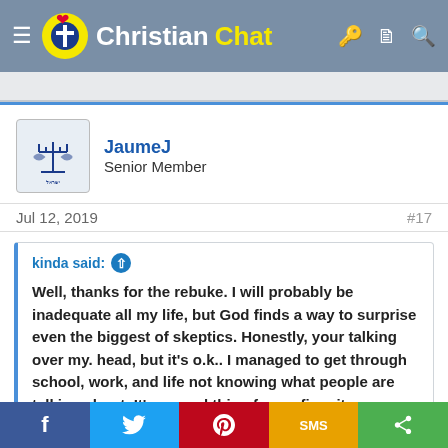ChristianChat
JaumeJ
Senior Member
Jul 12, 2019	#17
kinda said:
Well, thanks for the rebuke. I will probably be inadequate all my life, but God finds a way to surprise even the biggest of skeptics. Honestly, your talking over my. head, but it's o.k.. I managed to get through school, work, and life not knowing what people are talking about. It's a good thing for surfing, it was really the only time I wasn't constantly criticized, graded, measured, or taught.
Click to expand
Facebook Twitter Pinterest SMS Share